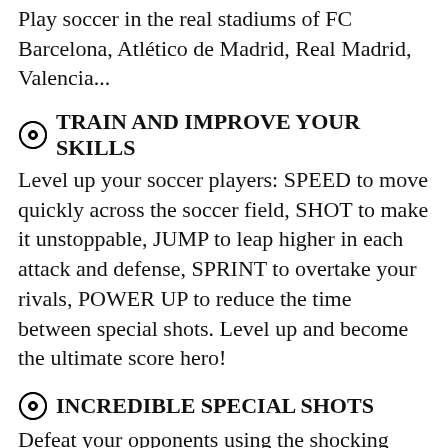Play soccer in the real stadiums of FC Barcelona, Atlético de Madrid, Real Madrid, Valencia...
⊙ TRAIN AND IMPROVE YOUR SKILLS
Level up your soccer players: SPEED to move quickly across the soccer field, SHOT to make it unstoppable, JUMP to leap higher in each attack and defense, SPRINT to overtake your rivals, POWER UP to reduce the time between special shots. Level up and become the ultimate score hero!
⊙ INCREDIBLE SPECIAL SHOTS
Defeat your opponents using the shocking special kicks: Dragon Ball, Orange Machine